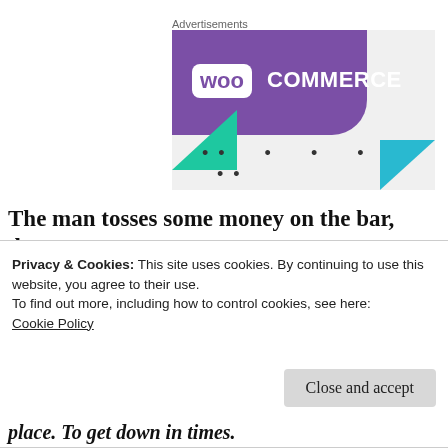Advertisements
[Figure (logo): WooCommerce advertisement banner with purple background, WOO logo box, COMMERCE text, green and teal triangular design elements, and navigation dots]
The man tosses some money on the bar, downs
Privacy & Cookies: This site uses cookies. By continuing to use this website, you agree to their use.
To find out more, including how to control cookies, see here: Cookie Policy
Close and accept
place. To get down in times.